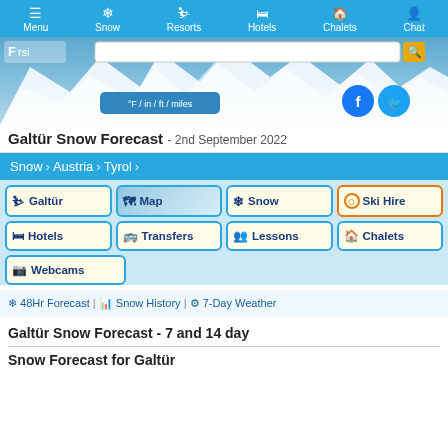Menu | Snow | Resorts | Hotels | Chalets | Chat
[Figure (screenshot): Hero image of snowy mountain resort with search bar, unit toggle button, logo, and social media icons]
Galtür Snow Forecast - 2nd September 2022
Snow > Austria > Tyrol
Galtür
Map
Snow
Ski Hire
Hotels
Transfers
Lessons
Chalets
Webcams
❄ 48Hr Forecast | 📊 Snow History | ⚙ 7-Day Weather
Galtür Snow Forecast - 7 and 14 day
Snow Forecast for Galtür